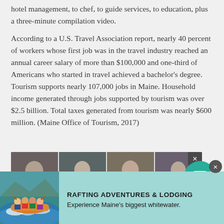hotel management, to chef, to guide services, to education, plus a three-minute compilation video.
According to a U.S. Travel Association report, nearly 40 percent of workers whose first job was in the travel industry reached an annual career salary of more than $100,000 and one-third of Americans who started in travel achieved a bachelor's degree. Tourism supports nearly 107,000 jobs in Maine. Household income generated through jobs supported by tourism was over $2.5 billion. Total taxes generated from tourism was nearly $600 million. (Maine Office of Tourism, 2017)
[Figure (screenshot): A horizontal strip of four video thumbnails showing people, with an X close button at the right.]
[Figure (infographic): Advertisement banner for Rafting Adventures & Lodging with a rafting photo on the left and text: RAFTING ADVENTURES & LODGING / Experience Maine's biggest whitewater.]